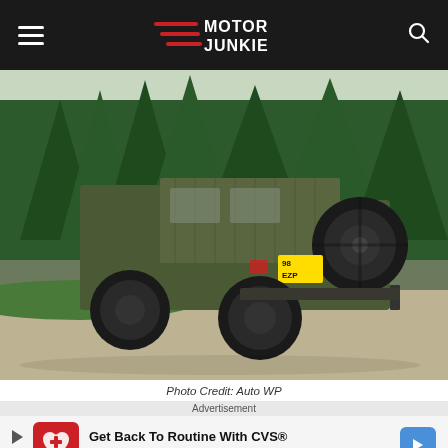Motor Junkie
[Figure (photo): Rear three-quarter view of a military olive-green Land Rover Defender utility vehicle with canvas soft-top, large off-road tires, and spare tire mounted on the rear, parked on a gravel driveway with tall evergreen trees in the background.]
Photo Credit: Auto WP
Advertisement
Get Back To Routine With CVS® CVS Pharmacy